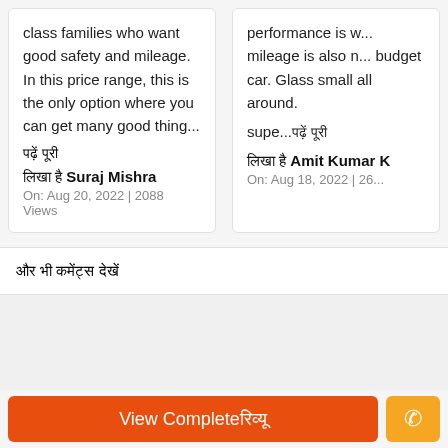class families who want good safety and mileage. In this price range, this is the only option where you can get many good thing...
पढ़ें पूरी
लिखा है Suraj Mishra
On: Aug 20, 2022 | 2088 Views
performance is w... mileage is also n... budget car. Glass small all around. supe...पढ़ें पूरी
लिखा है Amit Kumar K
On: Aug 18, 2022 | 26...
और भी कमेंट्स देखें
View Complete रिव्यू